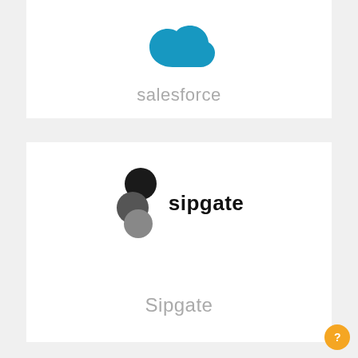[Figure (logo): Salesforce blue cloud logo]
salesforce
[Figure (logo): Sipgate logo with stylized S mark and 'sipgate' text]
Sipgate